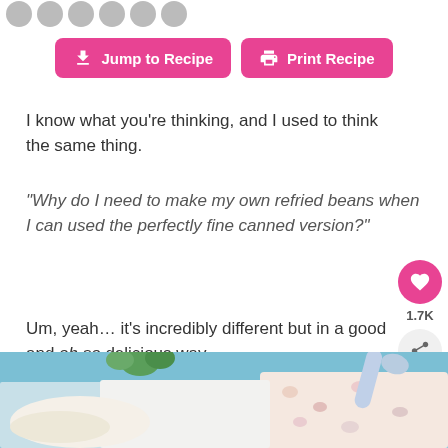[Figure (other): Row of grey social sharing icon circles at top of page]
[Figure (other): Two pink buttons: 'Jump to Recipe' with download arrow icon, and 'Print Recipe' with printer icon]
I know what you're thinking, and I used to think the same thing.
“Why do I need to make my own refried beans when I can used the perfectly fine canned version?”
Um, yeah… it’s incredibly different but in a good and oh so delicious way.
[Figure (photo): Photo of refried beans dish with tortillas, herbs, floral cloth, and a blue spoon on a light blue background]